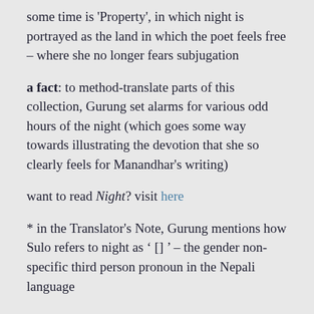some time is 'Property', in which night is portrayed as the land in which the poet feels free – where she no longer fears subjugation
a fact: to method-translate parts of this collection, Gurung set alarms for various odd hours of the night (which goes some way towards illustrating the devotion that she so clearly feels for Manandhar's writing)
want to read Night? visit here
* in the Translator's Note, Gurung mentions how Sulo refers to night as ' [] ' – the gender non-specific third person pronoun in the Nepali language